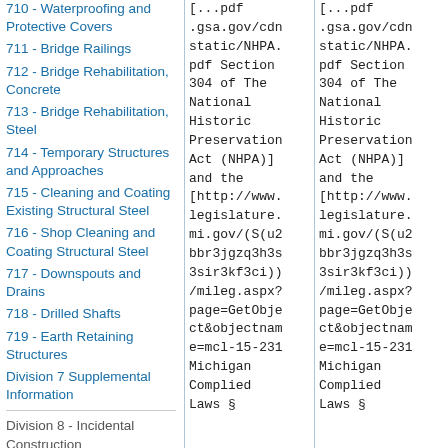710 - Waterproofing and Protective Covers
711 - Bridge Railings
712 - Bridge Rehabilitation, Concrete
713 - Bridge Rehabilitation, Steel
714 - Temporary Structures and Approaches
715 - Cleaning and Coating Existing Structural Steel
716 - Shop Cleaning and Coating Structural Steel
717 - Downspouts and Drains
718 - Drilled Shafts
719 - Earth Retaining Structures
Division 7 Supplemental Information
Division 8 - Incidental Construction
801 - Concrete Drives
.gsa.gov/cdnstatic/NHPA.pdf Section 304 of The National Historic Preservation Act (NHPA)] and the [http://www.legislature.mi.gov/(S(u2bbr3jgzq3h3s3sir3kf3ci))/mileg.aspx?page=GetObject&objectname=mcl-15-231 Michigan Complied Laws §
.gsa.gov/cdnstatic/NHPA.pdf Section 304 of The National Historic Preservation Act (NHPA)] and the [http://www.legislature.mi.gov/(S(u2bbr3jgzq3h3s3sir3kf3ci))/mileg.aspx?page=GetObject&objectname=mcl-15-231 Michigan Complied Laws §